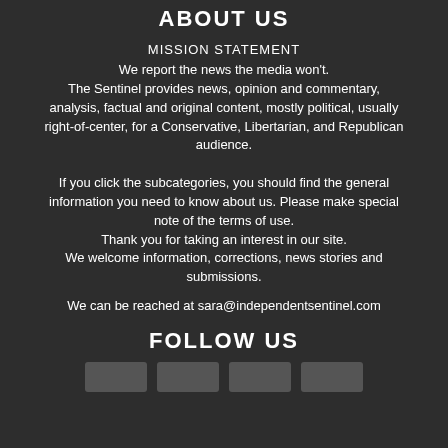ABOUT US
MISSION STATEMENT
We report the news the media won't. The Sentinel provides news, opinion and commentary, analysis, factual and original content, mostly political, usually right-of-center, for a Conservative, Libertarian, and Republican audience. If you click the subcategories, you should find the general information you need to know about us. Please make special note of the terms of use. Thank you for taking an interest in our site. We welcome information, corrections, news stories and submissions.
We can be reached at sara@independentsentinel.com
FOLLOW US
[Figure (other): Row of four social media icon buttons at the bottom of the page]